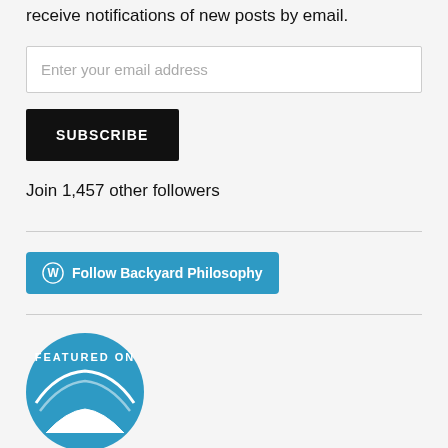receive notifications of new posts by email.
Enter your email address
SUBSCRIBE
Join 1,457 other followers
[Figure (other): WordPress Follow Backyard Philosophy button in blue]
[Figure (other): Featured On circular badge in blue with white text reading FEATURED ON and a wave/logo shape]